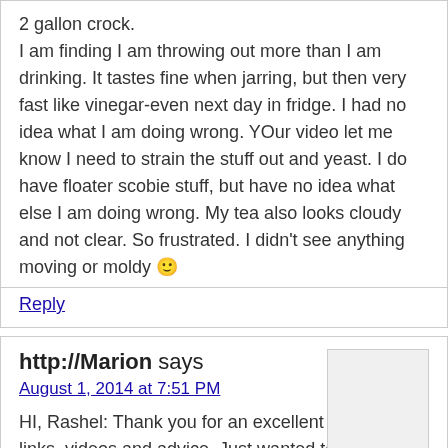2 gallon crock. I am finding I am throwing out more than I am drinking. It tastes fine when jarring, but then very fast like vinegar-even next day in fridge. I had no idea what I am doing wrong. YOur video let me know I need to strain the stuff out and yeast. I do have floater scobie stuff, but have no idea what else I am doing wrong. My tea also looks cloudy and not clear. So frustrated. I didn’t see anything moving or moldy 🙂
Reply
http://Marion says
August 1, 2014 at 7:51 PM
HI, Rashel: Thank you for an excellent website, links, videos and advice. Just wanted to let you know that for some reason, the video for how to make the kombucha tea was not working, i.e., I could hear your voice, but the visual image was all green–no picture. Just thought I would let you know. thanks!